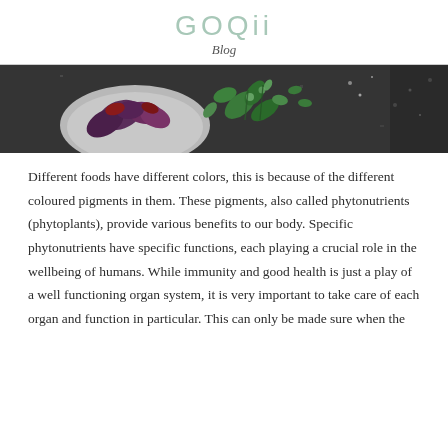GOQii
Blog
[Figure (photo): Overhead view of colorful vegetables and greens on a dark slate background, including purple and green leafy vegetables in a bowl]
Different foods have different colors, this is because of the different coloured pigments in them. These pigments, also called phytonutrients (phytoplants), provide various benefits to our body. Specific phytonutrients have specific functions, each playing a crucial role in the wellbeing of humans. While immunity and good health is just a play of a well functioning organ system, it is very important to take care of each organ and function in particular. This can only be made sure when the